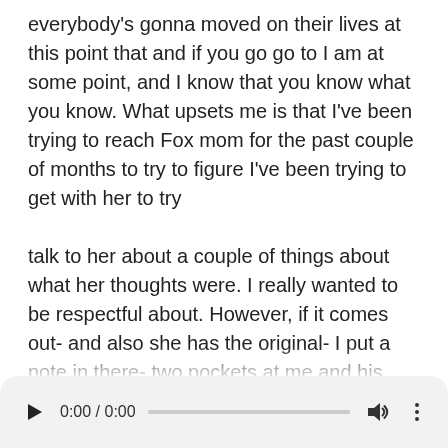everybody's gonna moved on their lives at this point that and if you go go to I am at some point, and I know that you know what you know. What upsets me is that I've been trying to reach Fox mom for the past couple of months to try to figure I've been trying to get with her to try

talk to her about a couple of things about what her thoughts were. I really wanted to be respectful about. However, if it comes out- and also she has the original- I put a note in there- two pockets at me and his mom has the original. So I was trying to get in touch with her for both of those things and unfortunately, she passed. So I'm not sure where it where it's going to happen, but it just has to be like respect, and done well at this point has been so long, but you said you didn't want to put it out because you
[Figure (screenshot): Audio player bar with play button, time display 0:00 / 0:00, progress bar, volume icon, and more options button]